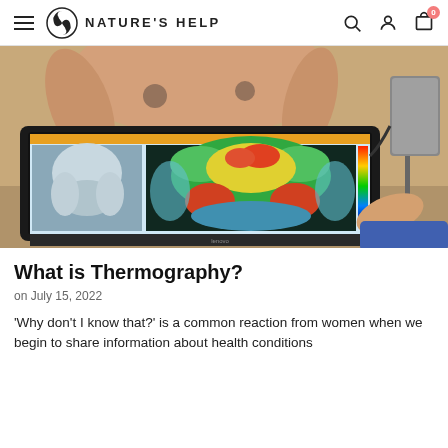NATURE'S HELP
[Figure (photo): A thermography scan displayed on a laptop screen showing a thermal image of a human torso in false-color (green, red, yellow hues), with a person's upper body visible in the background and a thermal imaging camera mounted on a tripod to the right.]
What is Thermography?
on July 15, 2022
'Why don't I know that?' is a common reaction from women when we begin to share information about health conditions